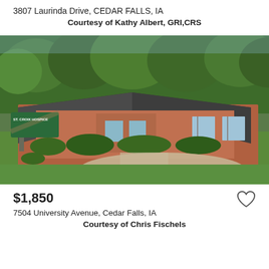3807 Laurinda Drive, CEDAR FALLS, IA
Courtesy of Kathy Albert, GRI,CRS
[Figure (photo): Exterior photo of a single-story brick commercial building with dark roof, green signage reading 'ST. CROIX HOSPICE', surrounded by green lawn and trees, with a circular driveway.]
$1,850
7504 University Avenue, Cedar Falls, IA
Courtesy of Chris Fischels